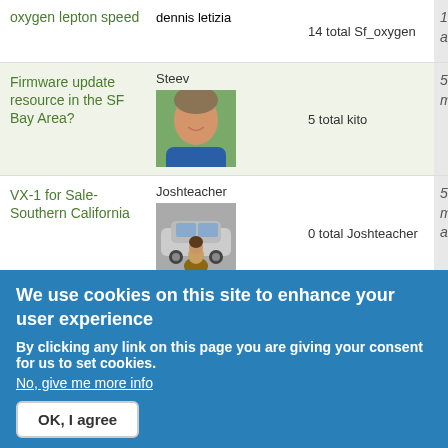| Topic | User | Votes | Time |
| --- | --- | --- | --- |
| oxygen lepton speed | dennis letizia | 14 total Sf_oxygen | 1 month ago |
| Firmware update resource in the SF Bay Area? | Steev [photo] | 5 total kito | 5 years 1 month ago |
| VX-1 for Sale- Southern California | Joshteacher [photo] | 0 total Joshteacher | 5 years 2 months ago |
| [partial] | Joshteacher |  | 5 years |
We use cookies on this site to enhance your user experience
By clicking any link on this page you are giving your consent for us to set cookies.
No, give me more info
OK, I agree